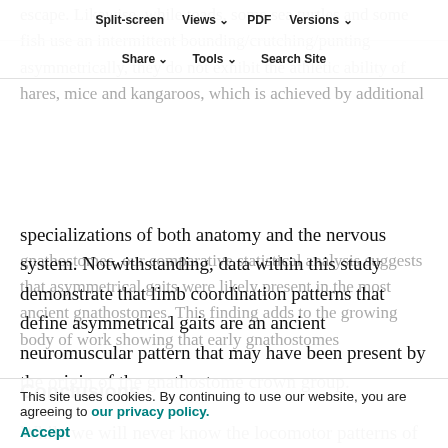Split-screen  Views  PDF  Versions
Share  Tools  Search Site
escape. Likewise, while toads, some sea turtles and some fish use an intermittent bounding/crutching/punting asymmetrically, they do not exhibit the athletic ability of hares, mice and kangaroos, which is achieved by additional specializations of both anatomy and the nervous system. Notwithstanding, data within this study demonstrate that limb coordination patterns that define asymmetrical gaits are an ancient neuromuscular pattern that may have been present by the origin of the gnathostome crown group.
Conclusions
While we will never know the locomotor patterns of ancient gnathostomes, our comparative statistical analysis suggests that asymmetrical gaits were likely present in the most ancient gnathostomes. This finding adds to the growing body of work showing that early gnathostomes
This site uses cookies. By continuing to use our website, you are agreeing to our privacy policy.
Accept